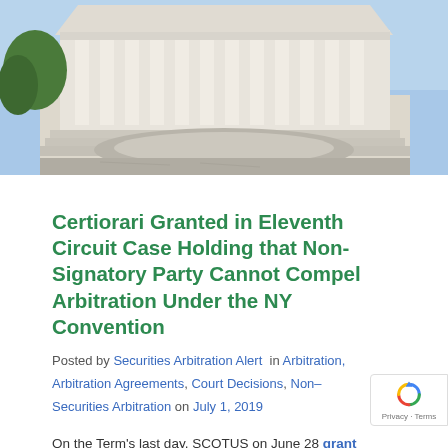[Figure (photo): Photograph of the United States Supreme Court building exterior showing white marble columns, steps, and facade under a blue sky]
Certiorari Granted in Eleventh Circuit Case Holding that Non-Signatory Party Cannot Compel Arbitration Under the NY Convention
Posted by Securities Arbitration Alert in Arbitration, Arbitration Agreements, Court Decisions, Non-Securities Arbitration on July 1, 2019
On the Term's last day, SCOTUS on June 28 granted...